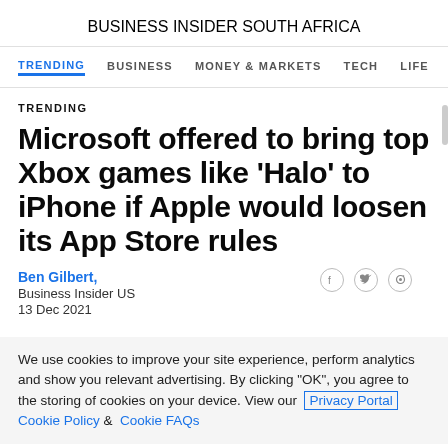BUSINESS INSIDER
SOUTH AFRICA
TRENDING   BUSINESS   MONEY & MARKETS   TECH   LIFE
TRENDING
Microsoft offered to bring top Xbox games like 'Halo' to iPhone if Apple would loosen its App Store rules
Ben Gilbert,
Business Insider US
13 Dec 2021
We use cookies to improve your site experience, perform analytics and show you relevant advertising. By clicking "OK", you agree to the storing of cookies on your device. View our Privacy Portal   Cookie Policy &  Cookie FAQs